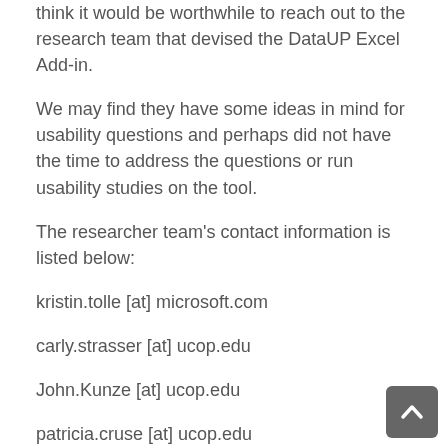think it would be worthwhile to reach out to the research team that devised the DataUP Excel Add-in.
We may find they have some ideas in mind for usability questions and perhaps did not have the time to address the questions or run usability studies on the tool.
The researcher team's contact information is listed below:
kristin.tolle [at] microsoft.com
carly.strasser [at] ucop.edu
John.Kunze [at] ucop.edu
patricia.cruse [at] ucop.edu
Stephen.Abrams [at] ucop.edu